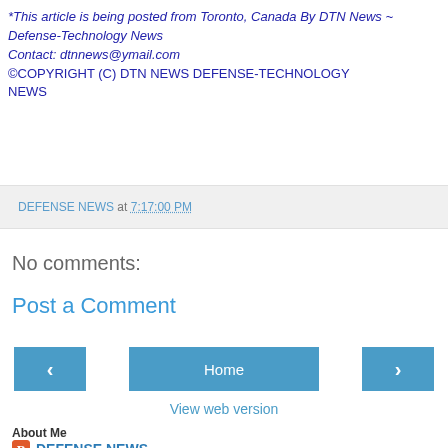*This article is being posted from Toronto, Canada By DTN News ~ Defense-Technology News
Contact: dtnnews@ymail.com
©COPYRIGHT (C) DTN NEWS DEFENSE-TECHNOLOGY NEWS
DEFENSE NEWS at 7:17:00 PM
No comments:
Post a Comment
< Home > View web version
About Me
DEFENSE NEWS